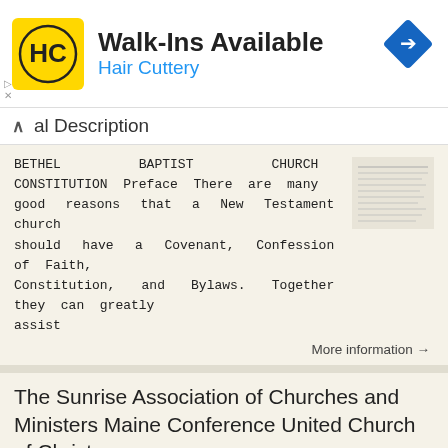[Figure (advertisement): Hair Cuttery advertisement banner with yellow HC logo, text 'Walk-Ins Available' and 'Hair Cuttery', and a blue navigation diamond icon]
al Description
BETHEL BAPTIST CHURCH CONSTITUTION Preface There are many good reasons that a New Testament church should have a Covenant, Confession of Faith, Constitution, and Bylaws. Together they can greatly assist
More information →
The Sunrise Association of Churches and Ministers Maine Conference United Church of Christ
The Sunrise Association of Churches and Ministers Maine Conference United Church